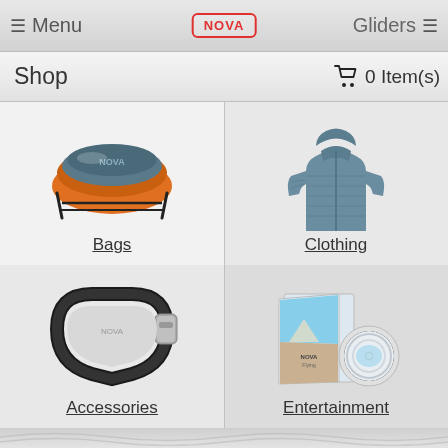≡ Menu  NOVA  Gliders ≡
Shop   🛒 0 Item(s)
[Figure (photo): Paraglider bag packed with orange glider, with NOVA branding, dark harness straps]
Bags
[Figure (photo): Blue quilted down jacket / clothing item]
Clothing
[Figure (photo): Black carabiner / climbing accessory with silver locking mechanism]
Accessories
[Figure (photo): DVD/Blu-ray case and disc for NOVA entertainment media]
Entertainment
Accessories
NOVA Maske